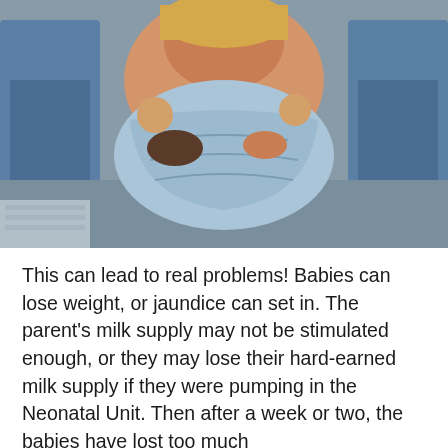[Figure (photo): A woman lying in a hospital bed holding newborn babies, assisted by two medical professionals in blue scrubs on either side, with blue hospital blankets.]
This can lead to real problems! Babies can lose weight, or jaundice can set in. The parent's milk supply may not be stimulated enough, or they may lose their hard-earned milk supply if they were pumping in the Neonatal Unit. Then after a week or two, the babies have lost too much